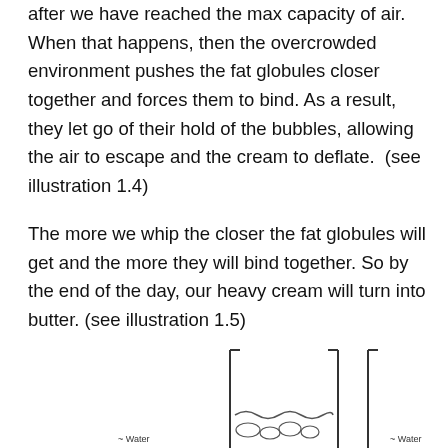after we have reached the max capacity of air. When that happens, then the overcrowded environment pushes the fat globules closer together and forces them to bind. As a result, they let go of their hold of the bubbles, allowing the air to escape and the cream to deflate.  (see illustration 1.4)
The more we whip the closer the fat globules will get and the more they will bind together. So by the end of the day, our heavy cream will turn into butter. (see illustration 1.5)
[Figure (illustration): Partial view of two illustrations showing containers with water labels at the bottom, depicting stages of cream/butter formation. Bottom portion of illustration 1.4 and 1.5 visible with wavy water lines and container outlines.]